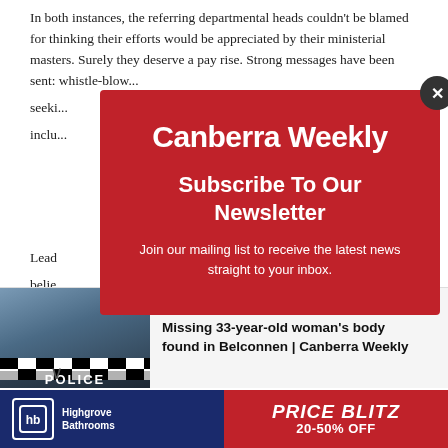In both instances, the referring departmental heads couldn't be blamed for thinking their efforts would be appreciated by their ministerial masters. Surely they deserve a pay rise. Strong messages have been sent: whistle-blow... seeki... inclu...
Lead... n QC belie... ame...
Our n...
For n...
[Figure (screenshot): Canberra Weekly newsletter subscription modal overlay on a red background. Contains the Canberra Weekly logo, 'Subscribe To Our Newsletter' heading, and 'Join our mailing list to receive the latest news straight to your inbox.' text. A dark close button (X) is in the top-right corner.]
[Figure (screenshot): Bottom notification bar showing a police car image on the left and text 'Missing 33-year-old woman's body found in Belconnen | Canberra Weekly' on the right with a close X button.]
[Figure (screenshot): Advertisement banner for Highgrove Bathrooms showing logo on left (dark blue background) and 'PRICE BLITZ 20-50% OFF' on right (red background).]